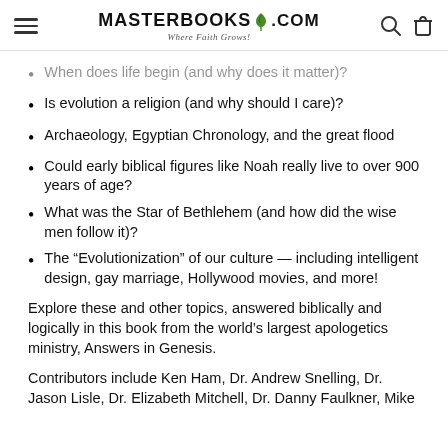MasterBooks.com — Where Faith Grows!
When does life begin (and why does it matter)?
Is evolution a religion (and why should I care)?
Archaeology, Egyptian Chronology, and the great flood
Could early biblical figures like Noah really live to over 900 years of age?
What was the Star of Bethlehem (and how did the wise men follow it)?
The “Evolutionization” of our culture — including intelligent design, gay marriage, Hollywood movies, and more!
Explore these and other topics, answered biblically and logically in this book from the world’s largest apologetics ministry, Answers in Genesis.
Contributors include Ken Ham, Dr. Andrew Snelling, Dr. Jason Lisle, Dr. Elizabeth Mitchell, Dr. Danny Faulkner, Mike